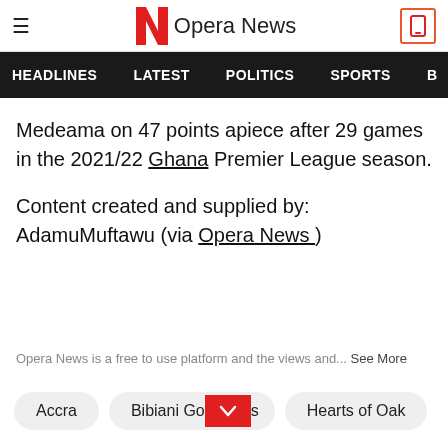≡  Opera News
HEADLINES  LATEST  POLITICS  SPORTS  B
Medeama on 47 points apiece after 29 games in the 2021/22 Ghana Premier League season.
Content created and supplied by: AdamuMuftawu (via Opera News )
Opera News is a free to use platform and the views and... See More
Accra
Bibiani Go[dropdown]s
Hearts of Oak